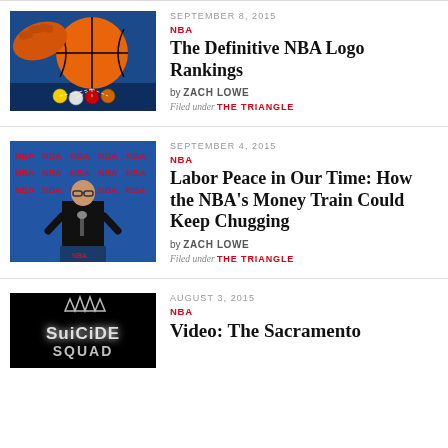[Figure (illustration): Illustration of a hand spinning a basketball with billiard/pool balls below, blue background]
SEPTEMBER 8, 2015
NBA
The Definitive NBA Logo Rankings
by ZACH LOWE
Filed under THE TRIANGLE
[Figure (photo): Photo of NBA commissioner Adam Silver speaking at a press conference with NBA logos on backdrop]
SEPTEMBER 4, 2015
NBA
Labor Peace in Our Time: How the NBA's Money Train Could Keep Chugging
by ZACH LOWE
Filed under THE TRIANGLE
[Figure (screenshot): Dark image with text SUICIDE SQUAD in metallic lettering on black background]
AUGUST 3, 2015
NBA
Video: The Sacramento